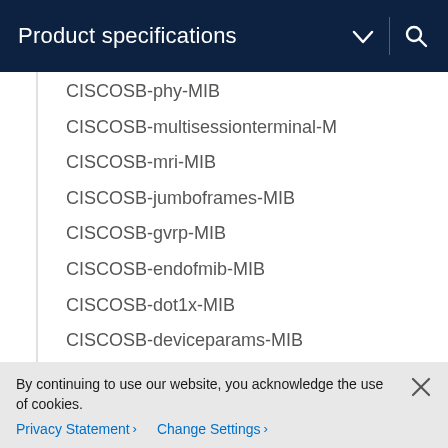Product specifications
CISCOSB-phy-MIB
CISCOSB-multisessionterminal-M
CISCOSB-mri-MIB
CISCOSB-jumboframes-MIB
CISCOSB-gvrp-MIB
CISCOSB-endofmib-MIB
CISCOSB-dot1x-MIB
CISCOSB-deviceparams-MIB
CISCOSB-cli-MIB
CISCOSB-cdb-MIB
CISCOSB-…-MIB
By continuing to use our website, you acknowledge the use of cookies.
Privacy Statement > Change Settings >